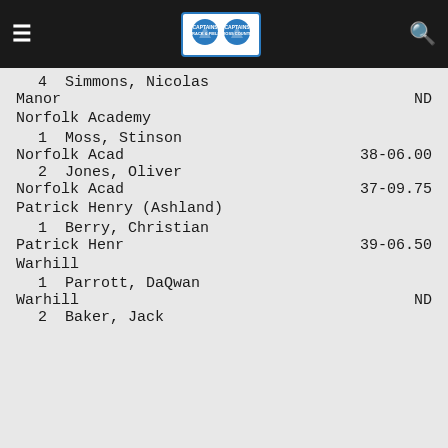Captains Track & Field / Captains Cross Country
4  Simmons, Nicolas
Manor   ND
Norfolk Academy
1  Moss, Stinson
Norfolk Acad   38-06.00
2  Jones, Oliver
Norfolk Acad   37-09.75
Patrick Henry (Ashland)
1  Berry, Christian
Patrick Henr   39-06.50
Warhill
1  Parrott, DaQwan
Warhill   ND
2  Baker, Jack